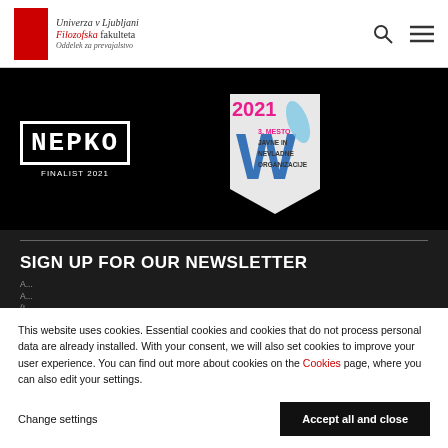Univerza v Ljubljani Filozofska fakulteta Oddelek za prevajalstvo
[Figure (logo): NEPKO FINALIST 2021 logo in white block letters on black background, alongside a 2021 award badge showing 3. MESTO JAVNE IN NEVLADNE ORGANIZACIJE]
SIGN UP FOR OUR NEWSLETTER
A... A... (I...
This website uses cookies. Essential cookies and cookies that do not process personal data are already installed. With your consent, we will also set cookies to improve your user experience. You can find out more about cookies on the Cookies page, where you can also edit your settings.
Change settings | Accept all and close